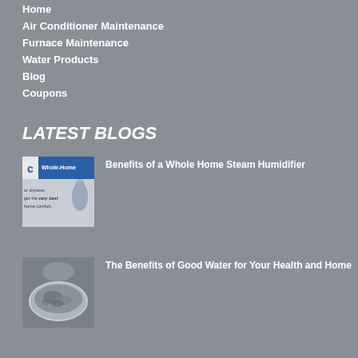Home
Air Conditioner Maintenance
Furnace Maintenance
Water Products
Blog
Coupons
LATEST BLOGS
[Figure (photo): Thumbnail image of a whole home steam humidifier product brochure showing 'Whole-Home' text and a person with text about dryness and home comfort]
Benefits of a Whole Home Steam Humidifier
[Figure (photo): Thumbnail image showing a bowl of water with sediment or deposits, illustrating water quality]
The Benefits of Good Water for Your Health and Home